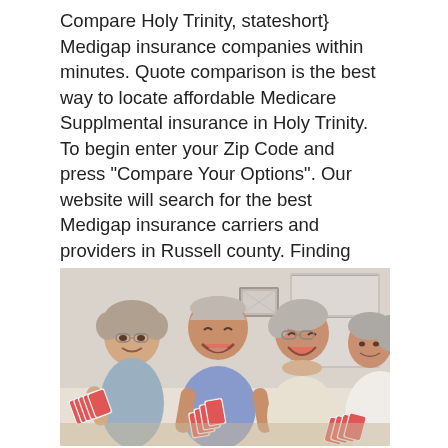Compare Holy Trinity, stateshort} Medigap insurance companies within minutes. Quote comparison is the best way to locate affordable Medicare Supplmental insurance in Holy Trinity. To begin enter your Zip Code and press "Compare Your Options". Our website will search for the best Medigap insurance carriers and providers in Russell county. Finding the best coverage and low cost premium that fit your needs and budget can literally take you 20 minutes or less.
[Figure (photo): A group of four elderly people (two women and two men) sitting together playing cards, laughing and smiling. They are holding playing cards with red backs. The setting appears to be indoors with a bright background showing shelves.]